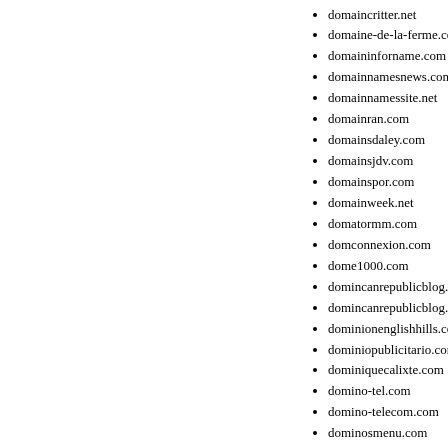domaincritter.net
domaine-de-la-ferme.com
domaininforname.com
domainnamesnews.com
domainnamessite.net
domainran.com
domainsdaley.com
domainsjdv.com
domainspor.com
domainweek.net
domatormm.com
domconnexion.com
dome1000.com
domincanrepublicblog.com
domincanrepublicblog.net
dominionenglishhills.com
dominiopublicitario.com
dominiquecalixte.com
domino-tel.com
domino-telecom.com
dominosmenu.com
dominquewilkins.com
domiventa.com
domme-nation.net
donald-hornsby.com
donaldfodness.com
donanimyazilim.com
donatethatchange.net